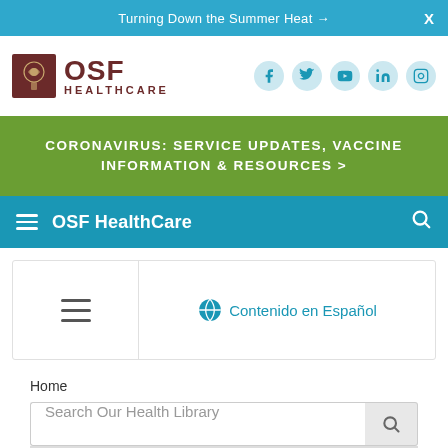Turning Down the Summer Heat →
[Figure (logo): OSF HealthCare logo with crest and text, social media icons (Facebook, Twitter, YouTube, LinkedIn, Instagram)]
CORONAVIRUS: SERVICE UPDATES, VACCINE INFORMATION & RESOURCES >
OSF HealthCare
[Figure (other): Navigation panel with hamburger menu and Contenido en Español globe icon link]
Home
Search Our Health Library